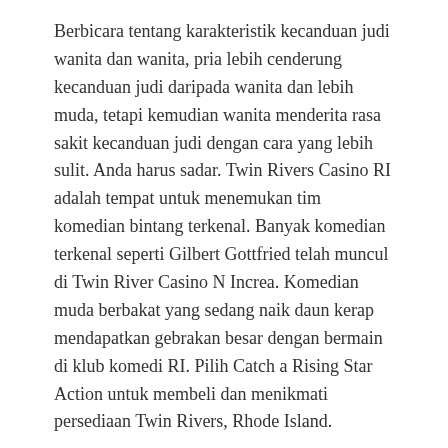Berbicara tentang karakteristik kecanduan judi wanita dan wanita, pria lebih cenderung kecanduan judi daripada wanita dan lebih muda, tetapi kemudian wanita menderita rasa sakit kecanduan judi dengan cara yang lebih sulit. Anda harus sadar. Twin Rivers Casino RI adalah tempat untuk menemukan tim komedian bintang terkenal. Banyak komedian terkenal seperti Gilbert Gottfried telah muncul di Twin River Casino N Increa. Komedian muda berbakat yang sedang naik daun kerap mendapatkan gebrakan besar dengan bermain di klub komedi RI. Pilih Catch a Rising Star Action untuk membeli dan menikmati persediaan Twin Rivers, Rhode Island.
Banyak kasino virtual menawarkan bonus. Secara umum, ini tunduk pada dua jenis utama: tanpa bonus